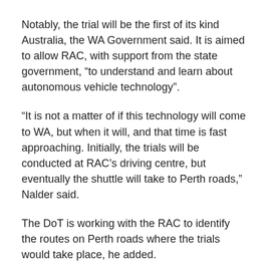Notably, the trial will be the first of its kind Australia, the WA Government said. It is aimed to allow RAC, with support from the state government, “to understand and learn about autonomous vehicle technology”.
“It is not a matter of if this technology will come to WA, but when it will, and that time is fast approaching. Initially, the trials will be conducted at RAC’s driving centre, but eventually the shuttle will take to Perth roads,” Nalder said.
The DoT is working with the RAC to identify the routes on Perth roads where the trials would take place, he added.
“It is important West Australians are aware this technology is not confined to Hollywood blockbusters, but is actually coming to Perth,” said the Transport Minister. “To ensure we are